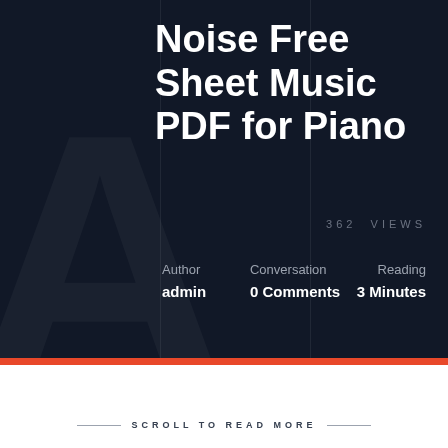Noise Free Sheet Music PDF for Piano
362 VIEWS
Author
admin
Conversation
0 Comments
Reading
3 Minutes
SCROLL TO READ MORE